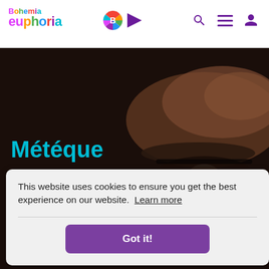Bohemia euphoria [logo with icons]
[Figure (screenshot): Close-up photo of a person's eye and brow in dark cinematic tones, used as background hero image]
Météque
2020 / 26 mins
Directed by: [partially obscured]
Drama, Sho[rt] [partially obscured]
Language / Country : English / United Kingdom
This website uses cookies to ensure you get the best experience on our website.  Learn more
Got it!